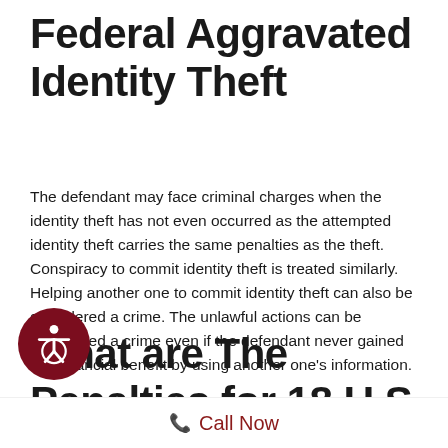Federal Aggravated Identity Theft
The defendant may face criminal charges when the identity theft has not even occurred as the attempted identity theft carries the same penalties as the theft. Conspiracy to commit identity theft is treated similarly. Helping another one to commit identity theft can also be considered a crime. The unlawful actions can be considered a crime even if the defendant never gained any financial benefit by using another one's information.
What are The Penalties for 18 U.S Code § 1028 - Aggravated Identity...